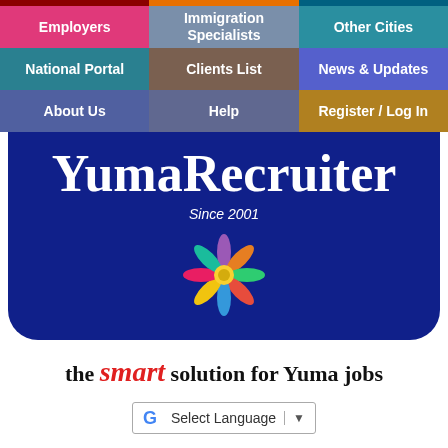[Figure (screenshot): Navigation menu grid with 9 colored cells: Employers (pink), Immigration Specialists (slate-blue), Other Cities (teal), National Portal (teal), Clients List (brown), News & Updates (blue), About Us (indigo/blue), Help (purple), Register / Log In (gold)]
YumaRecruiter
Since 2001
[Figure (illustration): Colorful flower/people starburst logo with figures in multiple colors radiating from center]
the smart solution for Yuma jobs
[Figure (other): Google Translate selector widget with G logo and dropdown arrow, labeled 'Select Language']